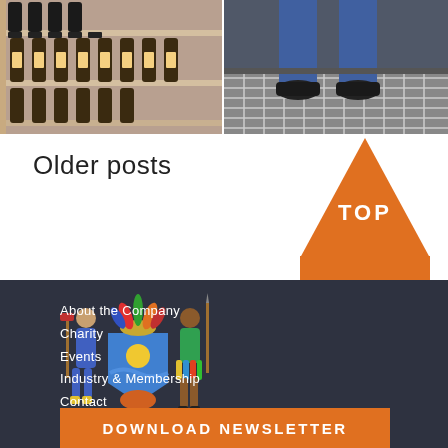[Figure (photo): Left photo showing wine/beer bottles on shelves with labels]
[Figure (photo): Right photo showing a person's legs and feet on a metal grate floor]
Older posts
[Figure (infographic): Orange upward-pointing triangle/arrow with the word TOP in white]
[Figure (logo): Coat of arms / heraldic crest with two figures flanking a shield]
About the Company
Charity
Events
Industry & Membership
Contact
Members' Area
DOWNLOAD NEWSLETTER